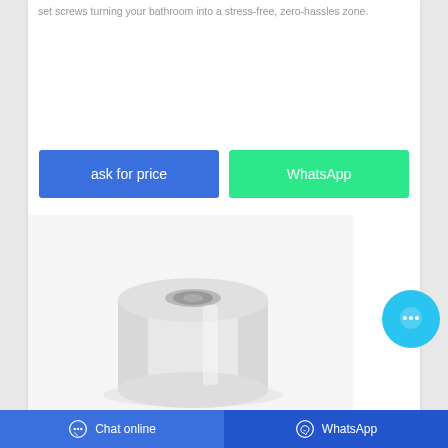set screws turning your bathroom into a stress-free, zero-hassles zone.
ask for price
WhatsApp
[Figure (photo): White cylindrical toilet paper roll product on light gray background]
[Figure (other): Circular chat bubble button with three dots icon, light blue background]
Chat online | WhatsApp